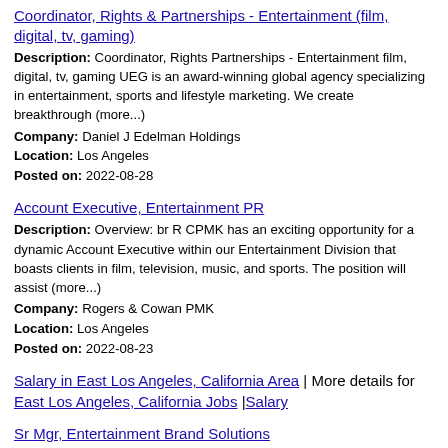Coordinator, Rights & Partnerships - Entertainment (film, digital, tv, gaming)
Description: Coordinator, Rights Partnerships - Entertainment film, digital, tv, gaming UEG is an award-winning global agency specializing in entertainment, sports and lifestyle marketing. We create breakthrough (more...)
Company: Daniel J Edelman Holdings
Location: Los Angeles
Posted on: 2022-08-28
Account Executive, Entertainment PR
Description: Overview: br R CPMK has an exciting opportunity for a dynamic Account Executive within our Entertainment Division that boasts clients in film, television, music, and sports. The position will assist (more...)
Company: Rogers & Cowan PMK
Location: Los Angeles
Posted on: 2022-08-23
Salary in East Los Angeles, California Area | More details for East Los Angeles, California Jobs |Salary
Sr Mgr, Entertainment Brand Solutions
Description: The Walt Disney Company s Media Entertainment Distribution DMED is a new, global business segment for The Walt Disney Company with the mission of providing consumers around the world access to the (more...)